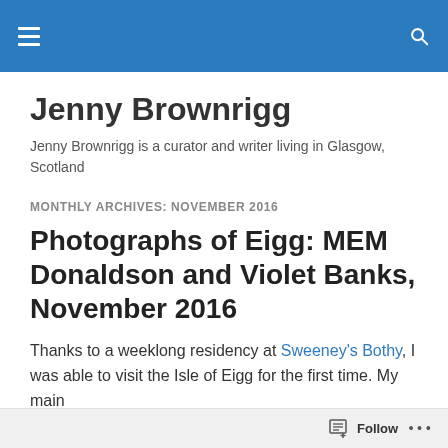Jenny Brownrigg [site header bar with hamburger menu and search icon]
Jenny Brownrigg
Jenny Brownrigg is a curator and writer living in Glasgow, Scotland
MONTHLY ARCHIVES: NOVEMBER 2016
Photographs of Eigg: MEM Donaldson and Violet Banks, November 2016
Thanks to a weeklong residency at Sweeney's Bothy, I was able to visit the Isle of Eigg for the first time. My main
Follow ...